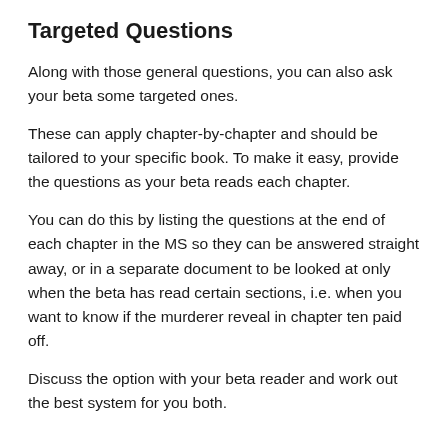Targeted Questions
Along with those general questions, you can also ask your beta some targeted ones.
These can apply chapter-by-chapter and should be tailored to your specific book. To make it easy, provide the questions as your beta reads each chapter.
You can do this by listing the questions at the end of each chapter in the MS so they can be answered straight away, or in a separate document to be looked at only when the beta has read certain sections, i.e. when you want to know if the murderer reveal in chapter ten paid off.
Discuss the option with your beta reader and work out the best system for you both.